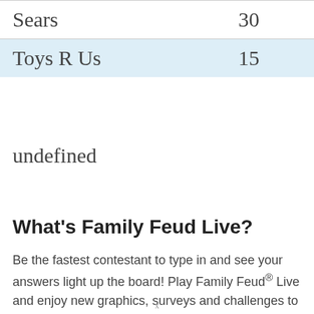| Sears | 30 |
| Toys R Us | 15 |
undefined
What's Family Feud Live?
Be the fastest contestant to type in and see your answers light up the board! Play Family Feud® Live and enjoy new graphics, surveys and challenges to become the Ultimate Feuder! Play Family Feud® Live any way
x